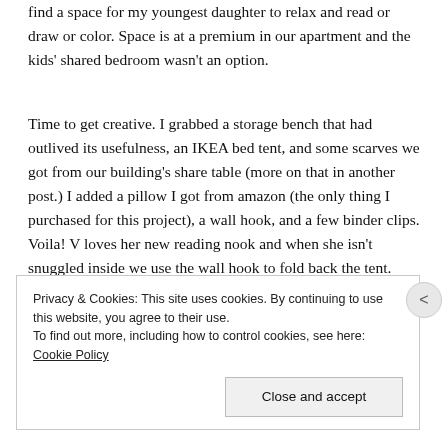find a space for my youngest daughter to relax and read or draw or color. Space is at a premium in our apartment and the kids' shared bedroom wasn't an option.
Time to get creative. I grabbed a storage bench that had outlived its usefulness, an IKEA bed tent, and some scarves we got from our building's share table (more on that in another post.) I added a pillow I got from amazon (the only thing I purchased for this project), a wall hook, and a few binder clips. Voila! V loves her new reading nook and when she isn't snuggled inside we use the wall hook to fold back the tent.
Privacy & Cookies: This site uses cookies. By continuing to use this website, you agree to their use.
To find out more, including how to control cookies, see here: Cookie Policy